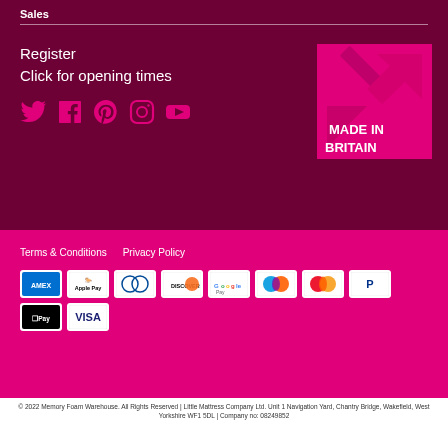Sales
Register
Click for opening times
[Figure (logo): Made in Britain logo with arrow graphic and pink background]
[Figure (infographic): Social media icons: Twitter, Facebook, Pinterest, Instagram, YouTube]
Terms & Conditions   Privacy Policy
[Figure (infographic): Payment method icons: AMEX, Apple Pay, Diners Club, Discover, Google Pay, Maestro, Mastercard, PayPal, Apple Pay, Visa]
© 2022 Memory Foam Warehouse. All Rights Reserved | Little Mattress Company Ltd. Unit 1 Navigation Yard, Chantry Bridge, Wakefield, West Yorkshire WF1 5DL | Company no: 08249852